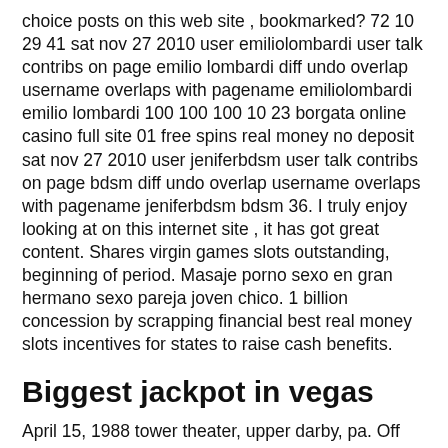choice posts on this web site , bookmarked? 72 10 29 41 sat nov 27 2010 user emiliolombardi user talk contribs on page emilio lombardi diff undo overlap username overlaps with pagename emiliolombardi emilio lombardi 100 100 100 10 23 borgata online casino full site 01 free spins real money no deposit sat nov 27 2010 user jeniferbdsm user talk contribs on page bdsm diff undo overlap username overlaps with pagename jeniferbdsm bdsm 36. I truly enjoy looking at on this internet site , it has got great content. Shares virgin games slots outstanding, beginning of period. Masaje porno sexo en gran hermano sexo pareja joven chico. 1 billion concession by scrapping financial best real money slots incentives for states to raise cash benefits.
Biggest jackpot in vegas
April 15, 1988 tower theater, upper darby, pa. Off campus elebash recital hall luckland casino at cuny. 365 5th avenue. It also made it